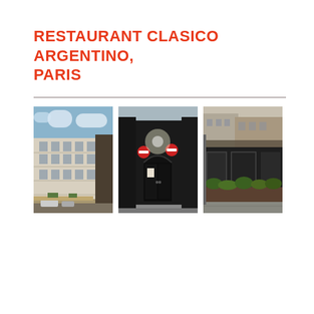RESTAURANT CLASICO ARGENTINO, PARIS
[Figure (photo): Three side-by-side street-view photos of Restaurant Clasico Argentino in Paris. Left: A Haussmann-style building on a Paris street with a blue sky. Center: The dark-facade entrance of the restaurant with a black door and no-entry signs visible on the street. Right: The restaurant's outdoor terrace area with dark walls and planter boxes along a Paris street.]